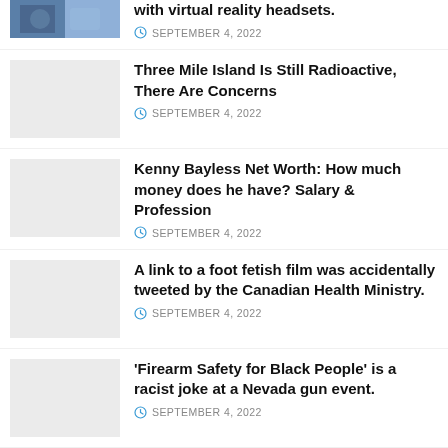[Figure (photo): Partial thumbnail image with blue/purple tones, partially visible at top]
with virtual reality headsets.
SEPTEMBER 4, 2022
[Figure (photo): Light gray placeholder thumbnail]
Three Mile Island Is Still Radioactive, There Are Concerns
SEPTEMBER 4, 2022
[Figure (photo): Light gray placeholder thumbnail]
Kenny Bayless Net Worth: How much money does he have? Salary & Profession
SEPTEMBER 4, 2022
[Figure (photo): Light gray placeholder thumbnail]
A link to a foot fetish film was accidentally tweeted by the Canadian Health Ministry.
SEPTEMBER 4, 2022
[Figure (photo): Light gray placeholder thumbnail]
'Firearm Safety for Black People' is a racist joke at a Nevada gun event.
SEPTEMBER 4, 2022
[Figure (photo): Light gray placeholder thumbnail]
If your partner uses any of these phrases, you might be a victim of gaslighting.